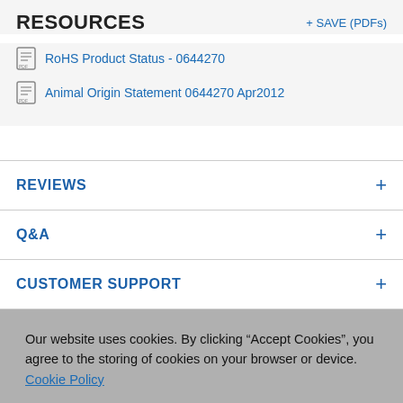RESOURCES
+ SAVE (PDFs)
RoHS Product Status - 0644270
Animal Origin Statement 0644270 Apr2012
REVIEWS
Q&A
CUSTOMER SUPPORT
Our website uses cookies. By clicking “Accept Cookies”, you agree to the storing of cookies on your browser or device. Cookie Policy
ACCEPT COOKIES